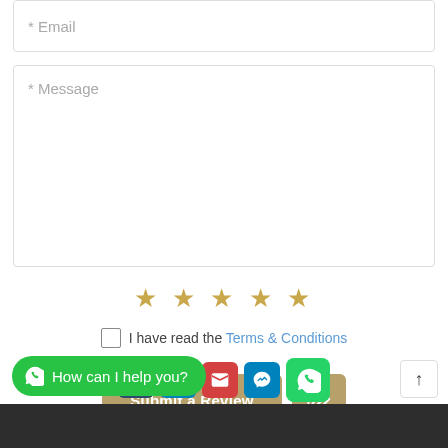* Email
* Message
[Figure (infographic): Five gold star rating icons displayed in a row]
I have read the Terms & Conditions
[Figure (infographic): Submit a Review button and an attachment/paperclip button]
[Figure (infographic): Social share icons row: Tumblr, LinkedIn, Email, Messenger, WhatsApp]
[Figure (infographic): Green WhatsApp chat bubble with text: How can I help you?]
[Figure (infographic): Scroll to top arrow button]
[Figure (infographic): Second row of social share icons: email, bookmark, geo, plus]